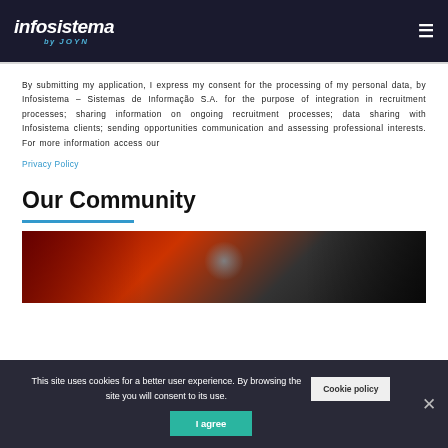[Figure (logo): Infosistema logo with 'by JOYN' subtitle on dark background header with hamburger menu icon]
By submitting my application, I express my consent for the processing of my personal data, by Infosistema – Sistemas de Informação S.A. for the purpose of integration in recruitment processes; sharing information on ongoing recruitment processes; data sharing with Infosistema clients; sending opportunities communication and assessing professional interests. For more information access our Privacy Policy
Our Community
[Figure (photo): Community photo showing people at an event, partially visible]
This site uses cookies for a better user experience. By browsing the site you will consent to its use.
Cookie policy
I agree